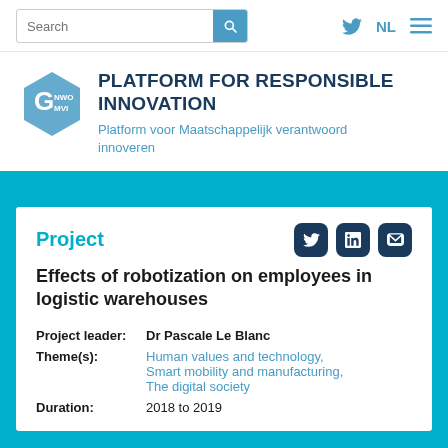Search | NL | menu
PLATFORM FOR RESPONSIBLE INNOVATION
Platform voor Maatschappelijk verantwoord innoveren
Project
Effects of robotization on employees in logistic warehouses
Project leader: Dr Pascale Le Blanc
Theme(s): Human values and technology, Smart mobility and manufacturing, The digital society
Duration: 2018 to 2019